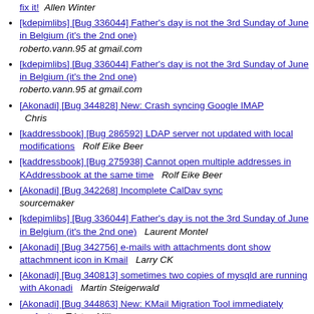fix it!  Allen Winter
[kdepimlibs] [Bug 336044] Father's day is not the 3rd Sunday of June in Belgium (it's the 2nd one)  roberto.vann.95 at gmail.com
[kdepimlibs] [Bug 336044] Father's day is not the 3rd Sunday of June in Belgium (it's the 2nd one)  roberto.vann.95 at gmail.com
[Akonadi] [Bug 344828] New: Crash syncing Google IMAP  Chris
[kaddressbook] [Bug 286592] LDAP server not updated with local modifications   Rolf Eike Beer
[kaddressbook] [Bug 275938] Cannot open multiple addresses in KAddressbook at the same time   Rolf Eike Beer
[Akonadi] [Bug 342268] Incomplete CalDav sync  sourcemaker
[kdepimlibs] [Bug 336044] Father's day is not the 3rd Sunday of June in Belgium (it's the 2nd one)   Laurent Montel
[Akonadi] [Bug 342756] e-mails with attachments dont show attachmnent icon in Kmail   Larry CK
[Akonadi] [Bug 340813] sometimes two copies of mysqld are running with Akonadi   Martin Steigerwald
[Akonadi] [Bug 344863] New: KMail Migration Tool immediately segfaults   Tristan Miller
[Akonadi] [Bug 344874] New: username/password not being